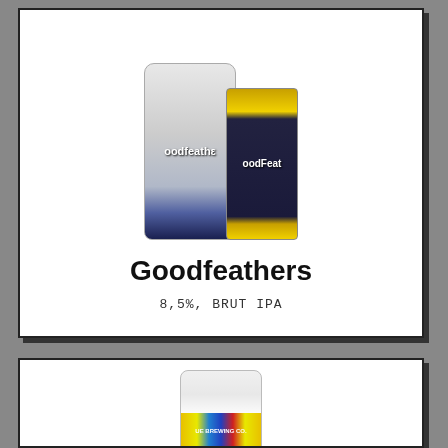[Figure (photo): Goodfeathers beer product photo showing a tall can and a box package, both with dark navy/black label with gold trim and owl/bird branding]
Goodfeathers
8,5%, BRUT IPA
[Figure (photo): Partial view of another beer can with colorful label from a brewing co., cut off at bottom of page]